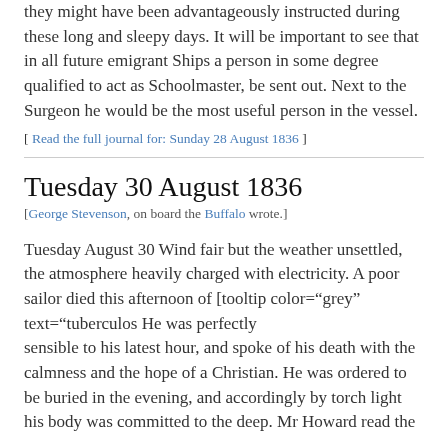they might have been advantageously instructed during these long and sleepy days. It will be important to see that in all future emigrant Ships a person in some degree qualified to act as Schoolmaster, be sent out. Next to the Surgeon he would be the most useful person in the vessel.
[ Read the full journal for: Sunday 28 August 1836 ]
Tuesday 30 August 1836
[George Stevenson, on board the Buffalo wrote.]
Tuesday August 30 Wind fair but the weather unsettled, the atmosphere heavily charged with electricity. A poor sailor died this afternoon of [tooltip color="grey" text="tuberculos… He was perfectly sensible to his latest hour, and spoke of his death with the calmness and the hope of a Christian. He was ordered to be buried in the evening, and accordingly by torch light his body was committed to the deep. Mr Howard read the